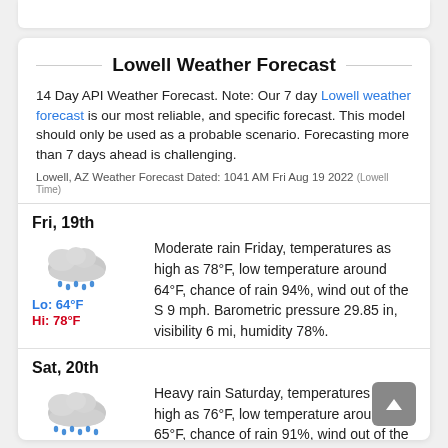Lowell Weather Forecast
14 Day API Weather Forecast. Note: Our 7 day Lowell weather forecast is our most reliable, and specific forecast. This model should only be used as a probable scenario. Forecasting more than 7 days ahead is challenging.
Lowell, AZ Weather Forecast Dated: 1041 AM Fri Aug 19 2022 (Lowell Time)
Fri, 19th
Moderate rain Friday, temperatures as high as 78°F, low temperature around 64°F, chance of rain 94%, wind out of the S 9 mph. Barometric pressure 29.85 in, visibility 6 mi, humidity 78%.
Lo: 64°F
Hi: 78°F
Sat, 20th
Heavy rain Saturday, temperatures as high as 76°F, low temperature around 65°F, chance of rain 91%, wind out of the WSW 8